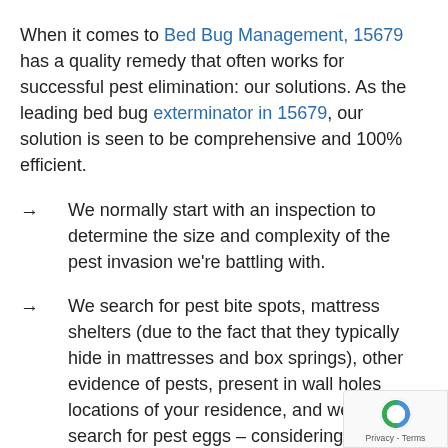When it comes to Bed Bug Management, 15679 has a quality remedy that often works for successful pest elimination: our solutions. As the leading bed bug exterminator in 15679, our solution is seen to be comprehensive and 100% efficient.
→ We normally start with an inspection to determine the size and complexity of the pest invasion we're battling with.
→ We search for pest bite spots, mattress shelters (due to the fact that they typically hide in mattresses and box springs), other evidence of pests, present in wall holes locations of your residence, and we also search for pest eggs – considering that whereas adult bed bugs neve grow bigger than an apple seed and can be
[Figure (logo): Google reCAPTCHA badge with blue/green circular arrow logo and 'Privacy - Terms' text]